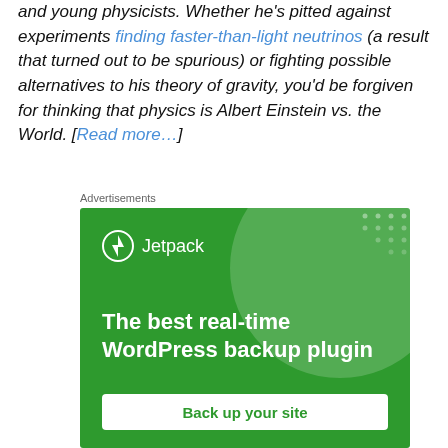and young physicists. Whether he's pitted against experiments finding faster-than-light neutrinos (a result that turned out to be spurious) or fighting possible alternatives to his theory of gravity, you'd be forgiven for thinking that physics is Albert Einstein vs. the World. [Read more…]
Advertisements
[Figure (other): Jetpack advertisement banner with green background, Jetpack logo and bolt icon, headline 'The best real-time WordPress backup plugin', and a 'Back up your site' button]